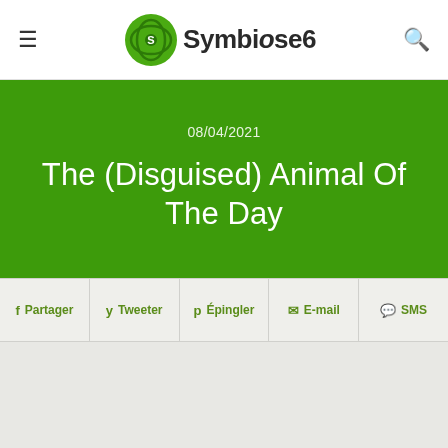Symbiose6
08/04/2021
The (Disguised) Animal Of The Day
f Partager   Tweeter   Épingler   E-mail   SMS